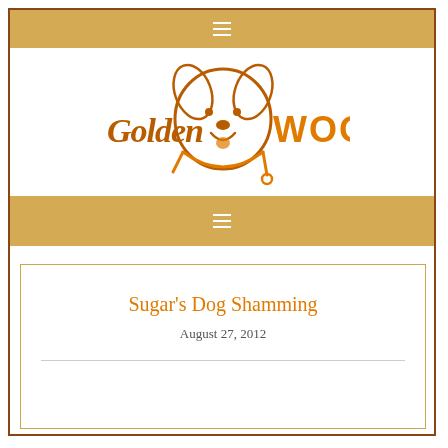☰ navigation bar (top)
[Figure (logo): Golden Woofs logo — cartoon golden retriever face with a leash, text 'Golden' in brown script and 'WOOFS' in orange block letters]
☰ navigation bar (bottom)
Sugar's Dog Shamming
August 27, 2012